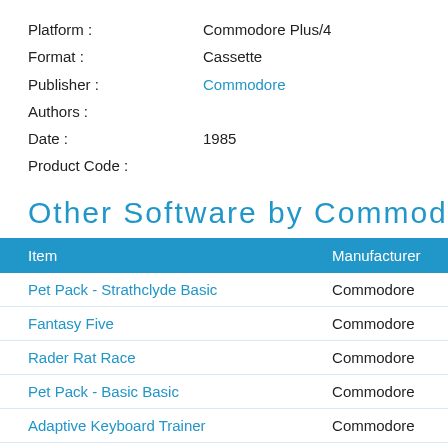Platform : Commodore Plus/4
Format : Cassette
Publisher : Commodore
Authors :
Date : 1985
Product Code :
Other Software by Commodo
| Item | Manufacturer |
| --- | --- |
| Pet Pack - Strathclyde Basic | Commodore |
| Fantasy Five | Commodore |
| Rader Rat Race | Commodore |
| Pet Pack - Basic Basic | Commodore |
| Adaptive Keyboard Trainer | Commodore |
| Get Ready for Number with BJ Bear | Commodore |
| Words Words Words | Commodo... |